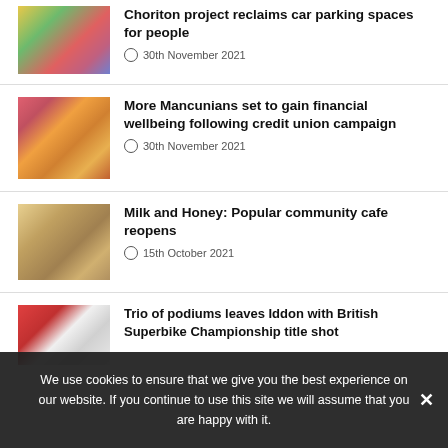[Figure (photo): Colourful car park reclaim project with pink and yellow markings]
Choriton project reclaims car parking spaces for people
30th November 2021
[Figure (photo): Collage of Mancunians, credit union campaign]
More Mancunians set to gain financial wellbeing following credit union campaign
30th November 2021
[Figure (photo): Two people standing in Milk and Honey community cafe]
Milk and Honey: Popular community cafe reopens
15th October 2021
[Figure (photo): Bennetts British Superbike Championship banner with trophy]
Trio of podiums leaves Iddon with British Superbike Championship title shot
We use cookies to ensure that we give you the best experience on our website. If you continue to use this site we will assume that you are happy with it.